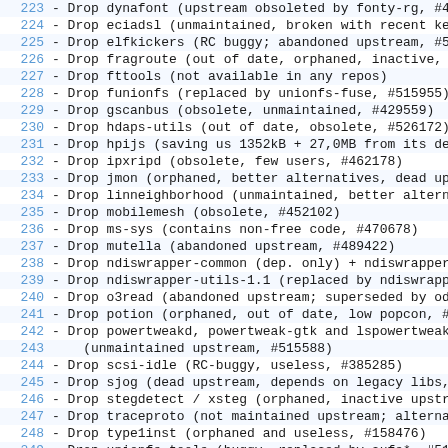223   - Drop dynafont (upstream obsoleted by fonty-rg, #4...
224   - Drop eciadsl (unmaintained, broken with recent ke...
225   - Drop elfkickers (RC buggy; abandoned upstream, #5...
226   - Drop fragroute (out of date, orphaned, inactive, ...
227   - Drop fttools (not available in any repos)
228   - Drop funionfs (replaced by unionfs-fuse, #515955)
229   - Drop gscanbus (obsolete, unmaintained, #429559)
230   - Drop hdaps-utils (out of date, obsolete, #526172)
231   - Drop hpijs (saving us 1352kB + 27,0MB from its de...
232   - Drop ipxripd (obsolete, few users, #462178)
233   - Drop jmon (orphaned, better alternatives, dead up...
234   - Drop linneighborhood (unmaintained, better alterna...
235   - Drop mobilemesh (obsolete, #452102)
236   - Drop ms-sys (contains non-free code, #470678)
237   - Drop mutella (abandoned upstream, #489422)
238   - Drop ndiswrapper-common (dep. only) + ndiswrapper-...
239   - Drop ndiswrapper-utils-1.1 (replaced by ndiswrappe...
240   - Drop o3read (abandoned upstream; superseded by od...
241   - Drop potion (orphaned, out of date, low popcon, #...
242   - Drop powertweakd, powertweak-gtk and lspowertweak...
243         (unmaintained upstream, #515588)
244   - Drop scsi-idle (RC-buggy, useless, #385285)
245   - Drop sjog (dead upstream, depends on legacy libs,...
246   - Drop stegdetect / xsteg (orphaned, inactive upstr...
247   - Drop traceproto (not maintained upstream; alterna...
248   - Drop type1inst (orphaned and useless, #158476)
249   - Drop unionfs-tools (buggy, replaced by aufs*, #51...